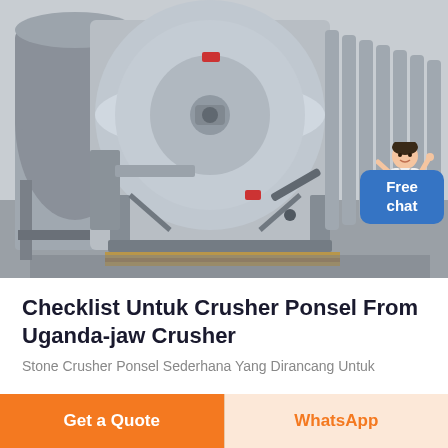[Figure (photo): Industrial drum/pulley magnetic separator machines in gray painted steel, multiple units lined up in a factory/warehouse setting. Each unit has large cylindrical drum with fins/ridges, mounted on steel frame stands. Yellow/wood pallets visible at base.]
Checklist Untuk Crusher Ponsel From Uganda-jaw Crusher
Stone Crusher Ponsel Sederhana Yang Dirancang Untuk
Get a Quote | WhatsApp